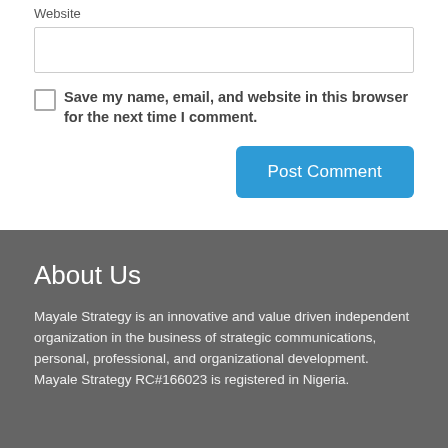Website
Save my name, email, and website in this browser for the next time I comment.
Post Comment
About Us
Mayale Strategy is an innovative and value driven independent organization in the business of strategic communications, personal, professional, and organizational development. Mayale Strategy RC#166023 is registered in Nigeria.